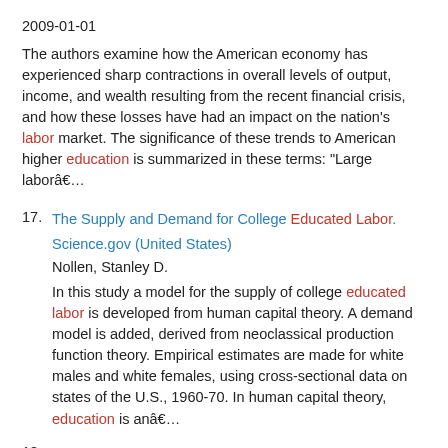2009-01-01
The authors examine how the American economy has experienced sharp contractions in overall levels of output, income, and wealth resulting from the recent financial crisis, and how these losses have had an impact on the nation's labor market. The significance of these trends to American higher education is summarized in these terms: "Large laborâ€¦
17. The Supply and Demand for College Educated Labor.
Science.gov (United States)
Nollen, Stanley D.
In this study a model for the supply of college educated labor is developed from human capital theory. A demand model is added, derived from neoclassical production function theory. Empirical estimates are made for white males and white females, using cross-sectional data on states of the U.S., 1960-70. In human capital theory, education is anâ€¦
18. Idleness, returns to education and child labor